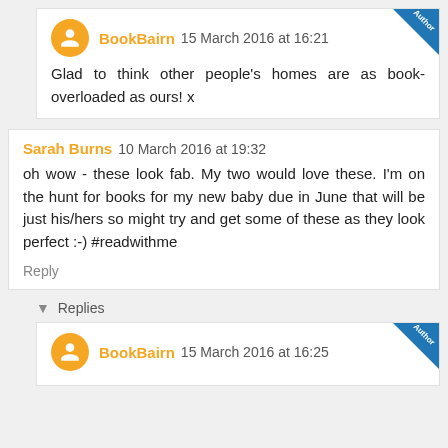BookBairn 15 March 2016 at 16:21
Glad to think other people's homes are as book-overloaded as ours! x
Sarah Burns 10 March 2016 at 19:32
oh wow - these look fab. My two would love these. I'm on the hunt for books for my new baby due in June that will be just his/hers so might try and get some of these as they look perfect :-)
#readwithme
Reply
Replies
BookBairn 15 March 2016 at 16:25